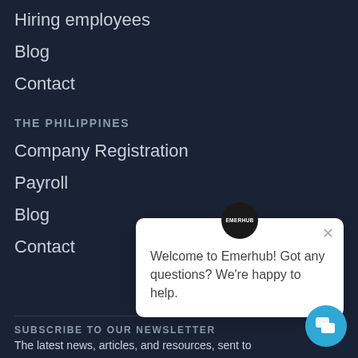Hiring employees
Blog
Contact
THE PHILIPPINES
Company Registration
Payroll
Blog
Contact
[Figure (screenshot): Emerhub chat widget popup with message: Welcome to Emerhub! Got any questions? We're happy to help.]
SUBSCRIBE TO OUR NEWSLETTER
The latest news, articles, and resources, sent to